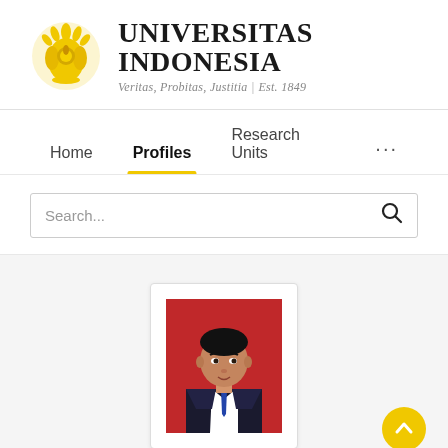[Figure (logo): Universitas Indonesia logo: golden emblem with stylized flame/flower on left, university name text on right with tagline]
Home   Profiles   Research Units   ...
Search...
[Figure (photo): Headshot photo of a young Asian man in a dark suit and tie against a red background, displayed in a white card with border]
View Scopus Profile